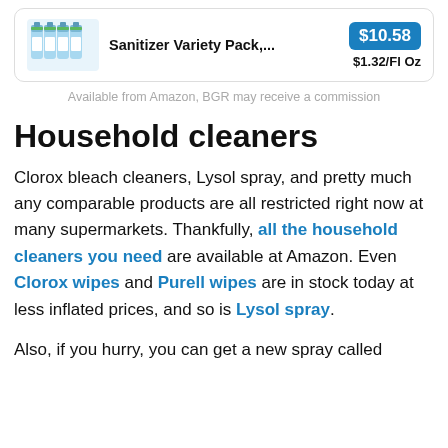[Figure (screenshot): Product card showing sanitizer variety pack with price $10.58 and $1.32/Fl Oz]
Available from Amazon, BGR may receive a commission
Household cleaners
Clorox bleach cleaners, Lysol spray, and pretty much any comparable products are all restricted right now at many supermarkets. Thankfully, all the household cleaners you need are available at Amazon. Even Clorox wipes and Purell wipes are in stock today at less inflated prices, and so is Lysol spray.
Also, if you hurry, you can get a new spray called